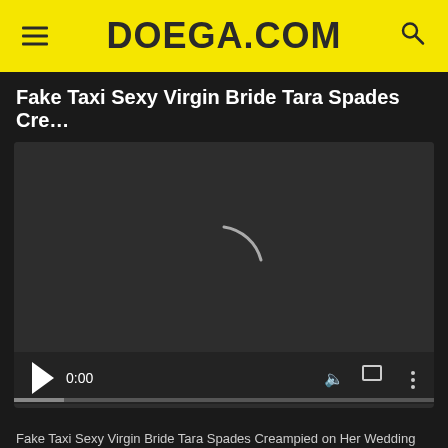DOEGA.COM
Fake Taxi Sexy Virgin Bride Tara Spades Cre…
[Figure (screenshot): Embedded video player with dark background showing a loading spinner arc, play button, time display 0:00, volume icon, fullscreen icon, and more options icon.]
Fake Taxi Sexy Virgin Bride Tara Spades Creampied on Her Wedding